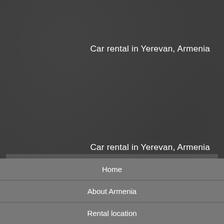[Figure (photo): Dark textured background image — appears to be a dark grey/charcoal stone or leather texture, with a faint silhouette of a car visible at the top center.]
Car rental in Yerevan, Armenia
Car rental in Yerevan, Armenia
Best deals from worldwide Rent a car company Naniko in Yerevan, Armenia more »
Home
About Armenia
Rental location